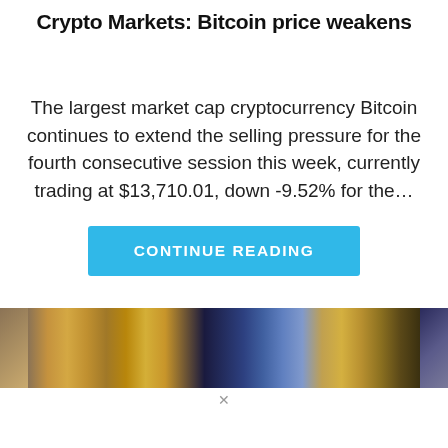Crypto Markets: Bitcoin price weakens
The largest market cap cryptocurrency Bitcoin continues to extend the selling pressure for the fourth consecutive session this week, currently trading at $13,710.01, down -9.52% for the...
CONTINUE READING
[Figure (photo): Photo of Bitcoin gold coin on top of US dollar bills and financial documents]